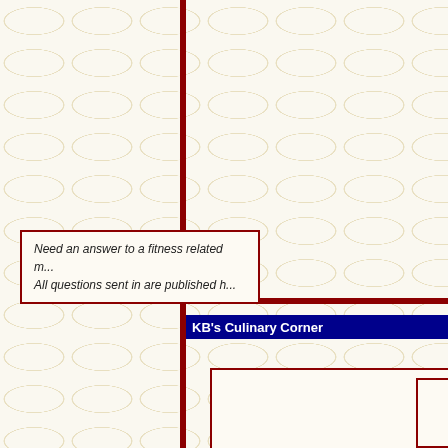Need an answer to a fitness related m... All questions sent in are published h...
KB's Culinary Corner